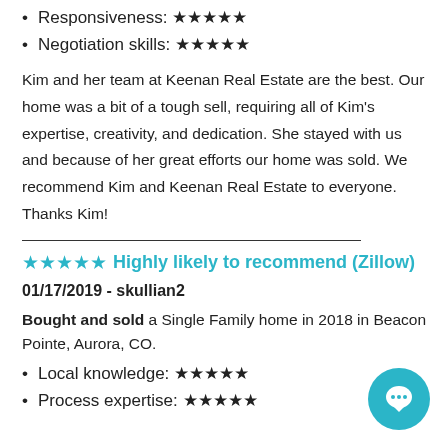Responsiveness: ★★★★★
Negotiation skills: ★★★★★
Kim and her team at Keenan Real Estate are the best. Our home was a bit of a tough sell, requiring all of Kim's expertise, creativity, and dedication. She stayed with us and because of her great efforts our home was sold. We recommend Kim and Keenan Real Estate to everyone. Thanks Kim!
★★★★★ Highly likely to recommend (Zillow)
01/17/2019 - skullian2
Bought and sold a Single Family home in 2018 in Beacon Pointe, Aurora, CO.
Local knowledge: ★★★★★
Process expertise: ★★★★★